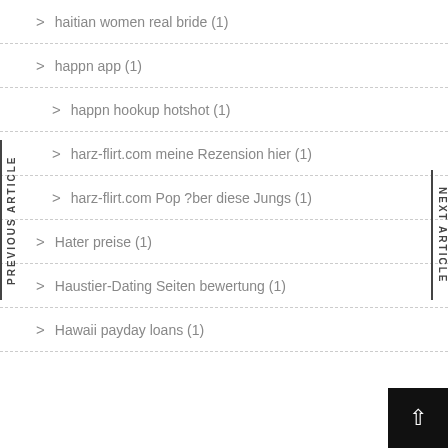haitian women real bride (1)
happn app (1)
happn hookup hotshot (1)
harz-flirt.com meine Rezension hier (1)
harz-flirt.com Pop ?ber diese Jungs (1)
Hater preise (1)
Haustier-Dating Seiten bewertung (1)
Hawaii payday loans (1)